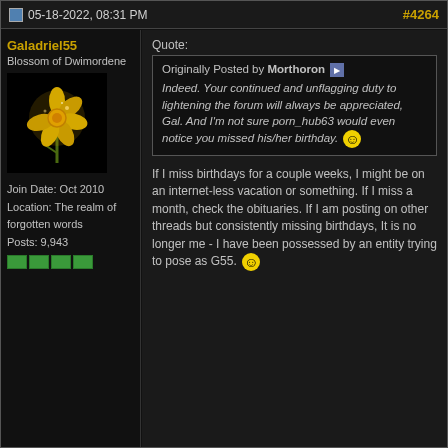05-18-2022, 08:31 PM  #4264
Galadriel55
Blossom of Dwimordene
Join Date: Oct 2010
Location: The realm of forgotten words
Posts: 9,943
[Figure (illustration): Yellow flowers (daffodils) on a dark background — forum avatar image]
Quote:
Originally Posted by Morthoron
Indeed. Your continued and unflagging duty to lightening the forum will always be appreciated, Gal. And I'm not sure porn_hub63 would even notice you missed his/her birthday. :)
If I miss birthdays for a couple weeks, I might be on an internet-less vacation or something. If I miss a month, check the obituaries. If I am posting on other threads but consistently missing birthdays, It is no longer me - I have been possessed by an entity trying to pose as G55. :)